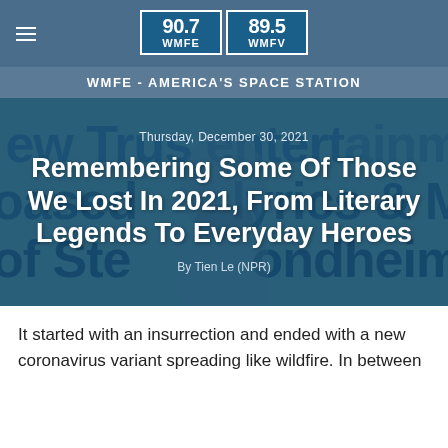90.7 WMFE | 89.5 WMFV — WMFE - AMERICA'S SPACE STATION
[Figure (photo): Hero image with a person's silhouette against a blue-tinted background with large overlaid text about entertainment, lyrics, music, and Stephen Sondheim. Date: Thursday, December 30, 2021. Title: Remembering Some Of Those We Lost In 2021, From Literary Legends To Everyday Heroes. Byline: By Tien Le (NPR).]
It started with an insurrection and ended with a new coronavirus variant spreading like wildfire. In between